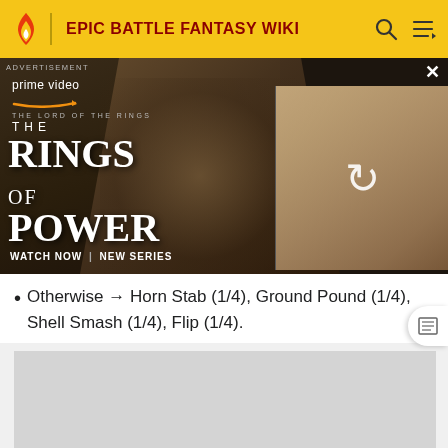EPIC BATTLE FANTASY WIKI
[Figure (photo): Amazon Prime Video advertisement for The Lord of the Rings: The Rings of Power. Shows a hooded stone-like figure on the left and a blonde character on the right thumbnail. Text reads: THE LORD OF THE RINGS THE RINGS OF POWER WATCH NOW | NEW SERIES]
Otherwise → Horn Stab (1/4), Ground Pound (1/4), Shell Smash (1/4), Flip (1/4).
[Figure (other): Advertisement placeholder — gray rectangle]
ADVERTISEMENT